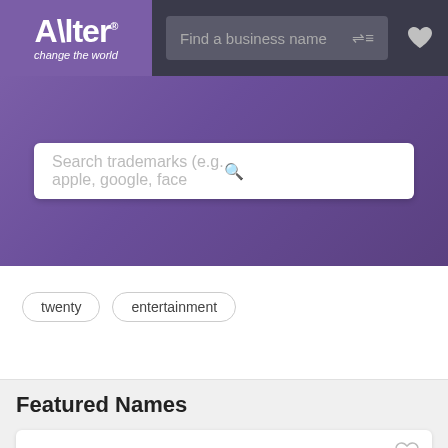[Figure (screenshot): Alter brand logo - purple background with white 'Alter' text and registered trademark symbol, tagline 'change the world' in italic]
[Figure (screenshot): Navigation search bar with placeholder text 'Find a business name' and filter icon, plus heart icon on dark gray background]
[Figure (screenshot): Purple hero section with white search box containing placeholder 'Search trademarks (e.g. apple, google, face' and magnifier icon]
twenty
entertainment
Featured Names
[Figure (logo): Lybe logo in green and orange colors, large text partially visible at bottom of page]